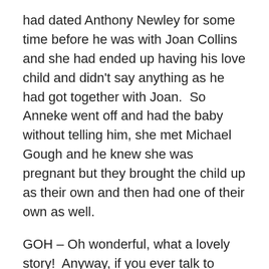had dated Anthony Newley for some time before he was with Joan Collins and she had ended up having his love child and didn't say anything as he had got together with Joan.  So Anneke went off and had the baby without telling him, she met Michael Gough and he knew she was pregnant but they brought the child up as their own and then had one of their own as well.
GOH – Oh wonderful, what a lovely story!  Anyway, if you ever talk to Anneke, remind her that she gave me a painting that she did.  She gave me a painting on brown hardboard of a rocking horse.  But the thing about that was that many, many years afterwards, I split up with a girlfriend and she asked if she could have it and I could hardly say no!  And I was rather sad to part with it, because I was very interested in painting.  And my present wife is a painter, she illustrated my book: Sherlock Holmes